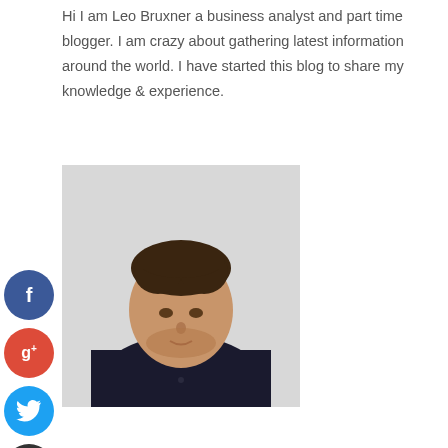Hi I am Leo Bruxner a business analyst and part time blogger. I am crazy about gathering latest information around the world. I have started this blog to share my knowledge & experience.
[Figure (photo): Portrait photo of Leo Bruxner, a man with short dark hair and beard, wearing a dark shirt, photographed against a light grey background.]
[Figure (logo): Facebook social share button - blue circle with white 'f' icon]
[Figure (logo): Google Plus social share button - red circle with white 'g+' icon]
[Figure (logo): Twitter social share button - blue circle with white bird icon]
[Figure (logo): Add/share button - dark circle with white '+' icon]
- ARCHIVES -
September 2022